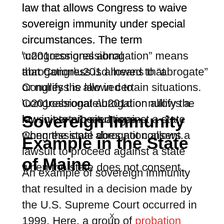law that allows Congress to waive sovereign immunity under special circumstances. The term “congressional abrogation” means that Congress is allowed to “abrogate” or nullify the law in certain situations. Congressional abrogation allows a lawsuit to proceed against a state when the state does not consent.
Sovereign Immunity Example in the State of Maine
An example of sovereign immunity that resulted in a decision made by the U.S. Supreme Court occurred in 1999. Here, a group of probation officers sued the state of Maine – their employer – in 1992, alleging
x